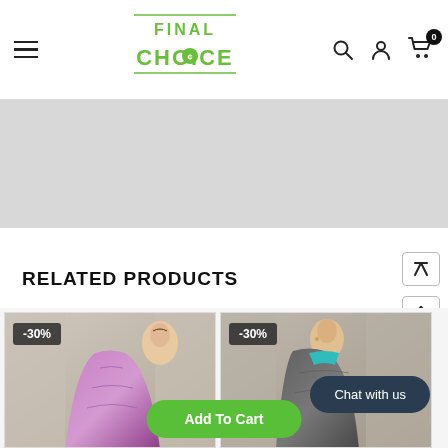Final Choice - Navigation header with logo, search, account, and cart icons
RELATED PRODUCTS
[Figure (photo): Product card showing a woman in a pink/purple printed suit with -30% discount badge]
[Figure (photo): Product card showing a woman in a dark grey/teal suit with -30% discount badge]
Chat with us
Add To Cart